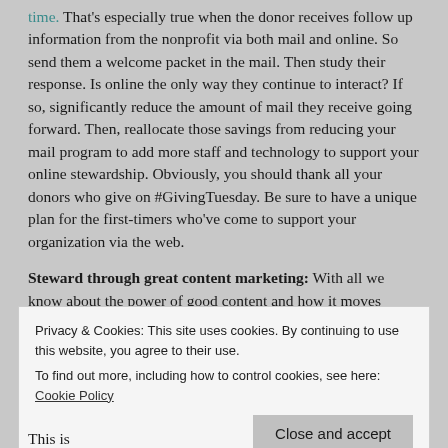time. That's especially true when the donor receives follow up information from the nonprofit via both mail and online. So send them a welcome packet in the mail. Then study their response. Is online the only way they continue to interact? If so, significantly reduce the amount of mail they receive going forward. Then, reallocate those savings from reducing your mail program to add more staff and technology to support your online stewardship. Obviously, you should thank all your donors who give on #GivingTuesday. Be sure to have a unique plan for the first-timers who've come to support your organization via the web.
Steward through great content marketing: With all we know about the power of good content and how it moves donors to give more often and acquires new donors, you
[Figure (screenshot): Cookie consent banner with text: 'Privacy & Cookies: This site uses cookies. By continuing to use this website, you agree to their use. To find out more, including how to control cookies, see here: Cookie Policy' and a 'Close and accept' button.]
This is an incomplete sentence fragment at the bottom of the page.